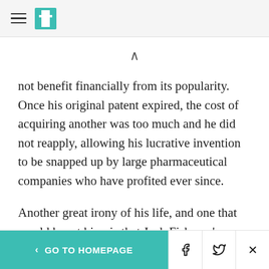HuffPost navigation header
not benefit financially from its popularity. Once his original patent expired, the cost of acquiring another was too much and he did not reapply, allowing his lucrative invention to be snapped up by large pharmaceutical companies who have profited ever since.
Another great irony of his life, and one that would haunt him, is that Jack Fishman's stepson, Jonathan Stampler, died of a heroin overdose in Florida in
< GO TO HOMEPAGE | Facebook | Twitter | X